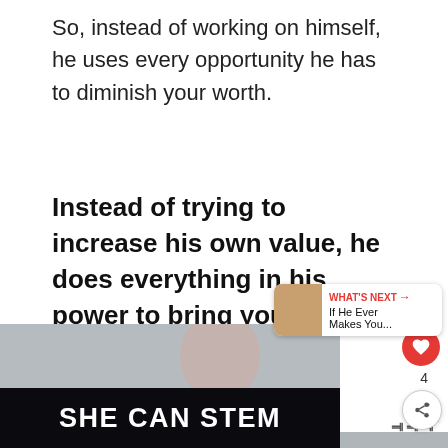So, instead of working on himself, he uses every opportunity he has to diminish your worth.
Instead of trying to increase his own value, he does everything in his power to bring you down to his level
[Figure (photo): Photo of a young woman with dark hair against a light background, with a 'SHE CAN STEM' banner at the bottom, a 'WHAT'S NEXT' card overlay, heart and share buttons on the right side.]